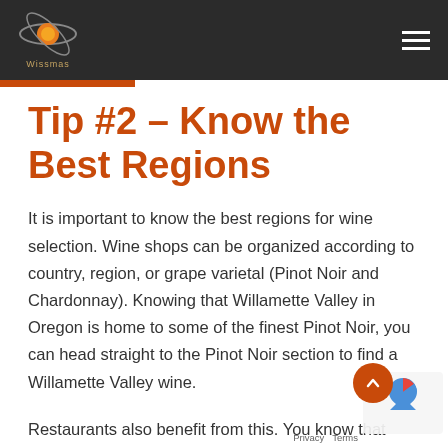Wissmas
Tip #2 – Know the Best Regions
It is important to know the best regions for wine selection. Wine shops can be organized according to country, region, or grape varietal (Pinot Noir and Chardonnay). Knowing that Willamette Valley in Oregon is home to some of the finest Pinot Noir, you can head straight to the Pinot Noir section to find a Willamette Valley wine.
Restaurants also benefit from this. You know that Cabernet Sauvignon is the best Cab you